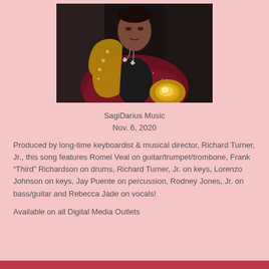[Figure (photo): A musician wearing a sparkling dark red jacket and chain necklace with cross pendants, holding a saxophone with a glowing bell.]
SagiDarius Music
Nov. 6, 2020
Produced by long-time keyboardist & musical director, Richard Turner, Jr., this song features Romel Veal on guitar/trumpet/trombone, Frank “Third” Richardson on drums, Richard Turner, Jr. on keys, Lorenzo Johnson on keys, Jay Puente on percussion, Rodney Jones, Jr. on bass/guitar and Rebecca Jade on vocals!
Available on all Digital Media Outlets